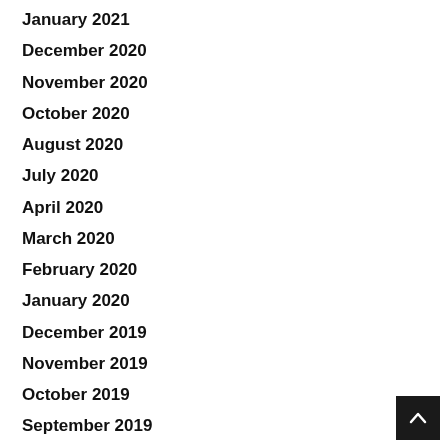January 2021
December 2020
November 2020
October 2020
August 2020
July 2020
April 2020
March 2020
February 2020
January 2020
December 2019
November 2019
October 2019
September 2019